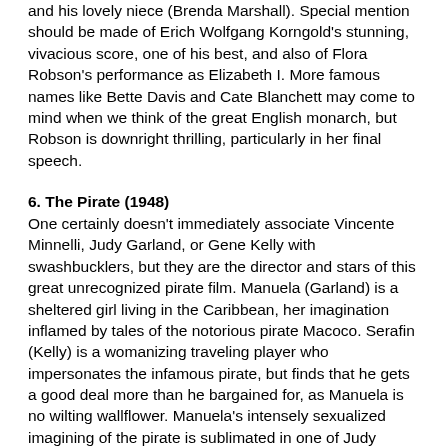and his lovely niece (Brenda Marshall). Special mention should be made of Erich Wolfgang Korngold's stunning, vivacious score, one of his best, and also of Flora Robson's performance as Elizabeth I. More famous names like Bette Davis and Cate Blanchett may come to mind when we think of the great English monarch, but Robson is downright thrilling, particularly in her final speech.
6. The Pirate (1948)
One certainly doesn't immediately associate Vincente Minnelli, Judy Garland, or Gene Kelly with swashbucklers, but they are the director and stars of this great unrecognized pirate film. Manuela (Garland) is a sheltered girl living in the Caribbean, her imagination inflamed by tales of the notorious pirate Macoco. Serafin (Kelly) is a womanizing traveling player who impersonates the infamous pirate, but finds that he gets a good deal more than he bargained for, as Manuela is no wilting wallflower. Manuela's intensely sexualized imagining of the pirate is sublimated in one of Judy Garland's best songs, "Mack the Black," and one of the most explosive dance sequences Kelly ever choreographed. Though more a fantasy musical than a traditional swashbuckler, The Pirate is